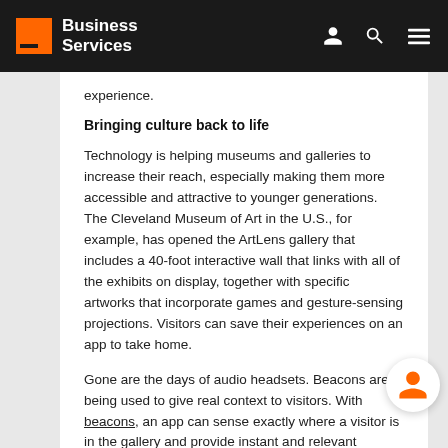Business Services
experience.
Bringing culture back to life
Technology is helping museums and galleries to increase their reach, especially making them more accessible and attractive to younger generations. The Cleveland Museum of Art in the U.S., for example, has opened the ArtLens gallery that includes a 40-foot interactive wall that links with all of the exhibits on display, together with specific artworks that incorporate games and gesture-sensing projections. Visitors can save their experiences on an app to take home.
Gone are the days of audio headsets. Beacons are being used to give real context to visitors. With beacons, an app can sense exactly where a visitor is in the gallery and provide instant and relevant information on the work of art or artifact he/she is looking at. The iBeacon app used by Bristol Museum in the UK has gamification included to further enhance the visitor